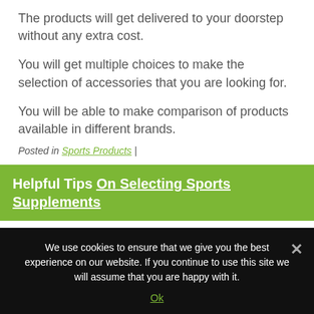The products will get delivered to your doorstep without any extra cost.
You will get multiple choices to make the selection of accessories that you are looking for.
You will be able to make comparison of products available in different brands.
Posted in Sports Products |
Helpful Tips On Selecting Sports Supplements
We use cookies to ensure that we give you the best experience on our website. If you continue to use this site we will assume that you are happy with it.
Ok